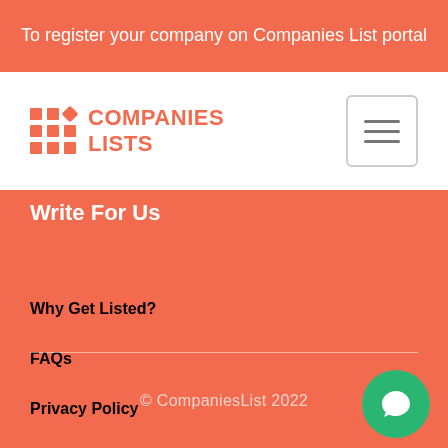To register your company on Companies List portal
[Figure (logo): Companies Lists logo with grid dots and company name in orange]
Write For Us
Why Get Listed?
FAQs
Privacy Policy
© CompaniesList 2022